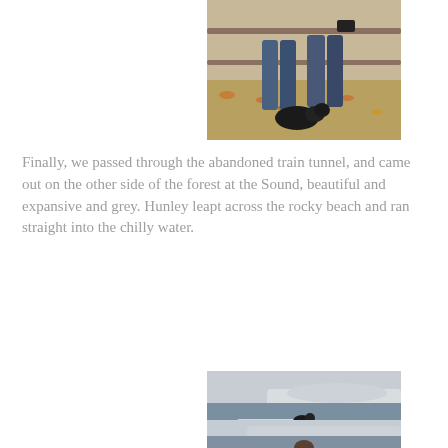[Figure (photo): Partial photo at top showing two people standing near a railing with autumn leaves on the ground, and a dark dog at their feet]
Finally, we passed through the abandoned train tunnel, and came out on the other side of the forest at the Sound, beautiful and expansive and grey. Hunley leapt across the rocky beach and ran straight into the chilly water.
[Figure (photo): Photo of a rocky beach shoreline with grey water, distant white cliffs/hills, overcast sky, and a dark dog (Hunley) wading at the water's edge]
[Figure (photo): Partial photo at bottom showing the same grey beach/water scene with a person partially visible at the bottom edge]